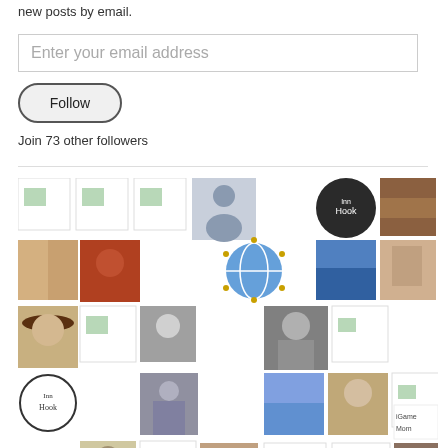new posts by email.
Enter your email address
Follow
Join 73 other followers
[Figure (other): Grid of follower avatar thumbnails, many showing broken image placeholders, profile photos, logos including InHook and BRS BreakRoomStories, and a person silhouette icon.]